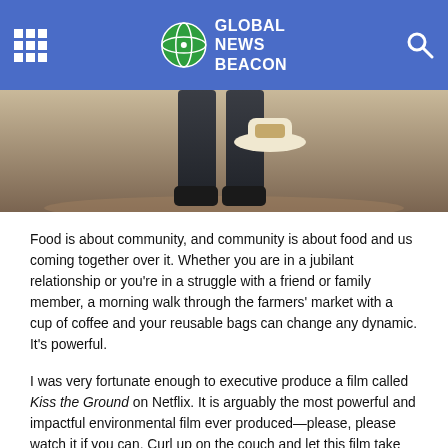GLOBAL NEWS BEACON
[Figure (photo): Person's lower body in dark jeans holding a white hat, standing on a dirt path outdoors]
Food is about community, and community is about food and us coming together over it. Whether you are in a jubilant relationship or you're in a struggle with a friend or family member, a morning walk through the farmers' market with a cup of coffee and your reusable bags can change any dynamic. It's powerful.
I was very fortunate enough to executive produce a film called Kiss the Ground on Netflix. It is arguably the most powerful and impactful environmental film ever produced—please, please watch it if you can. Curl up on the couch and let this film take you and change your whole perspective on